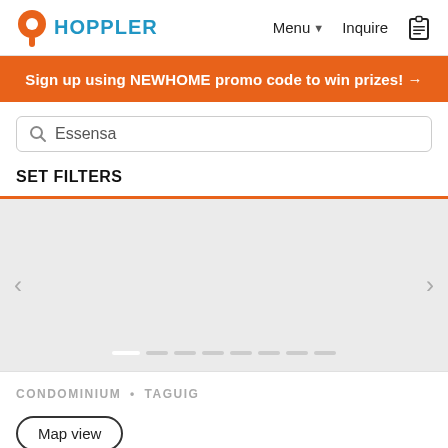HOPPLER  Menu ▾  Inquire
Sign up using NEWHOME promo code to win prizes! →
Essensa
SET FILTERS
[Figure (photo): Property listing image carousel with left and right navigation arrows and pagination dots, showing a grey placeholder image area.]
CONDOMINIUM • TAGUIG
Map view